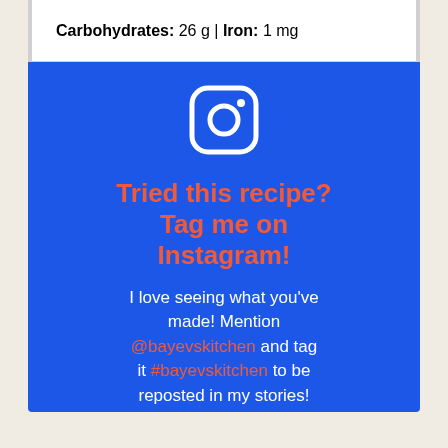Carbohydrates: 26 g | Iron: 1 mg
[Figure (illustration): Instagram logo icon in white on blue background]
Tried this recipe? Tag me on Instagram!
I love seeing what you've made! Mention @bayevskitchen and tag it #bayevskitchen to be reposted in my stories!